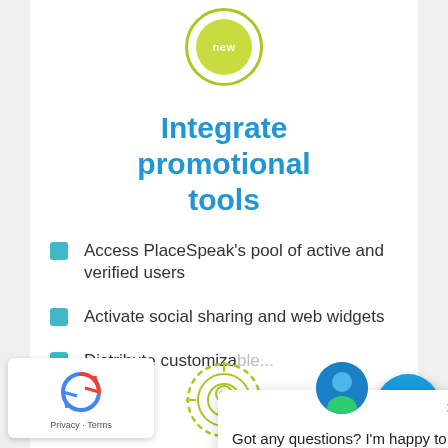[Figure (illustration): Green circular badge with 'new' text in center, outlined double ring design]
Integrate promotional tools
Access PlaceSpeak's pool of active and verified users
Activate social sharing and web widgets
Distribute customizable...
[Figure (screenshot): Chat popup with avatar icon and message 'Got any questions? I'm happy to help.' with close X button]
[Figure (illustration): reCAPTCHA widget with spinning arrows logo and Privacy - Terms links]
[Figure (illustration): Green target/mind icon in bottom center]
[Figure (illustration): Blue circular chat FAB button in bottom right]